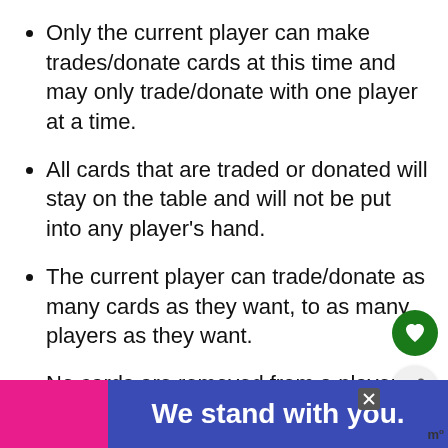Only the current player can make trades/donate cards at this time and may only trade/donate with one player at a time.
All cards that are traded or donated will stay on the table and will not be put into any player’s hand.
The current player can trade/donate as many cards as they want, to as many players as they want.
No cards are removed from a players hand until a trade/donation is confirmed by
[Figure (screenshot): UI overlay showing a green heart button, a share button, a 'WHAT'S NEXT' badge with TV icon and 'Today's Complete T...' text, and an advertisement banner at the bottom reading 'We stand with you.' with pink and blue background, a close button, and a logo.]